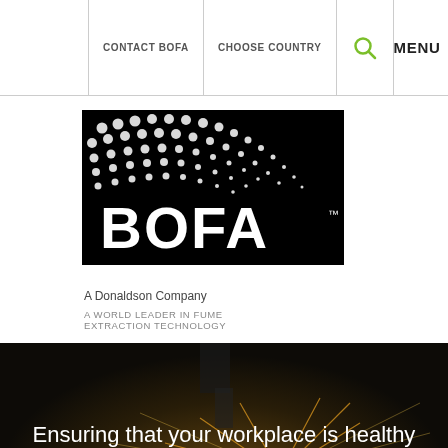CONTACT BOFA | CHOOSE COUNTRY | [search] | MENU
[Figure (logo): BOFA logo — black square with dot-pattern wave graphic, BOFA text in white, trademark symbol, 'A Donaldson Company' below, 'A WORLD LEADER IN FUME EXTRACTION TECHNOLOGY' tagline in grey]
[Figure (photo): Dark industrial photo of laser cutting machine with sparks flying, used as hero background]
Ensuring that your workplace is healthy and compliant
KEEP READING